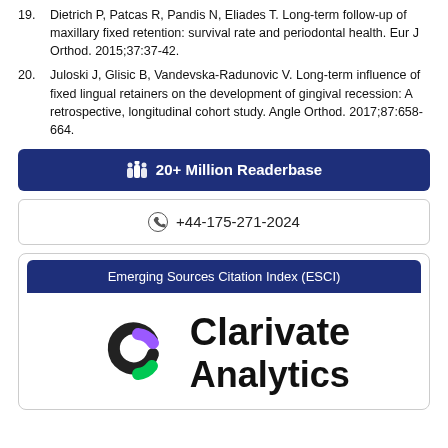19. Dietrich P, Patcas R, Pandis N, Eliades T. Long-term follow-up of maxillary fixed retention: survival rate and periodontal health. Eur J Orthod. 2015;37:37-42.
20. Juloski J, Glisic B, Vandevska-Radunovic V. Long-term influence of fixed lingual retainers on the development of gingival recession: A retrospective, longitudinal cohort study. Angle Orthod. 2017;87:658-664.
[Figure (infographic): Dark blue banner with person/readers icon and text '20+ Million Readerbase']
[Figure (infographic): Phone/WhatsApp contact banner showing +44-175-271-2024]
[Figure (logo): Emerging Sources Citation Index (ESCI) card with Clarivate Analytics logo]